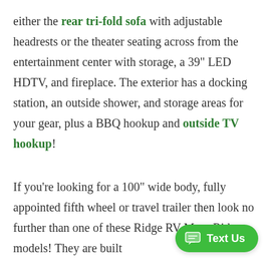either the rear tri-fold sofa with adjustable headrests or the theater seating across from the entertainment center with storage, a 39" LED HDTV, and fireplace. The exterior has a docking station, an outside shower, and storage areas for your gear, plus a BBQ hookup and outside TV hookup!
If you're looking for a 100" wide body, fully appointed fifth wheel or travel trailer then look no further than one of these Ridge RV Mesa Ridge models! They are built